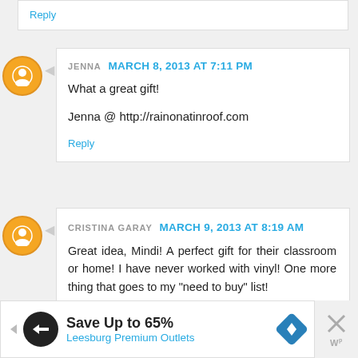Reply
JENNA  MARCH 8, 2013 AT 7:11 PM
What a great gift!

Jenna @ http://rainonatinroof.com
Reply
CRISTINA GARAY  MARCH 9, 2013 AT 8:19 AM
Great idea, Mindi! A perfect gift for their classroom or home! I have never worked with vinyl! One more thing that goes to my "need to buy" list!
[Figure (infographic): Advertisement banner: Save Up to 65% Leesburg Premium Outlets with logo and diamond navigation icon, and a close button]